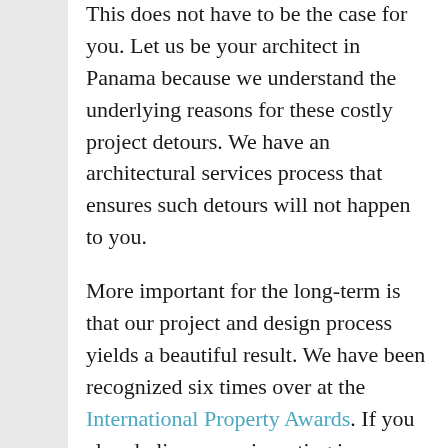This does not have to be the case for you. Let us be your architect in Panama because we understand the underlying reasons for these costly project detours. We have an architectural services process that ensures such detours will not happen to you.
More important for the long-term is that our project and design process yields a beautiful result. We have been recognized six times over at the International Property Awards. If you already live or are investing in Panama, we can also help you … with a better experience, safer investment and more comprehensive process.
We have several projects active in Panama right now. Because we are headquartered in